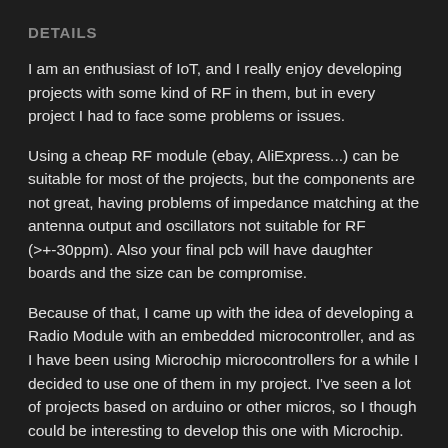DETAILS
I am an enthusiast of IoT, and I really enjoy developing projects with some kind of RF in them, but in every project I had to face some problems or issues.
Using a cheap RF module (ebay, AliExpress...) can be suitable for most of the projects, but the components are not great, having problems of impedance matching at the antenna output and oscillators not suitable for RF (>+-30ppm). Also your final pcb will have daughter boards and the size can be compromise.
Because of that, I came up with the idea of developing a Radio Module with an embedded microcontroller, and as I have been using Microchip microcontrollers for a while I decided to use one of them in my project. I've seen a lot of projects based on arduino or other micros, so I though could be interesting to develop this one with Microchip.
There are in the market some microcontrollers with RF integrated which will reduce the size quite a bit, but I